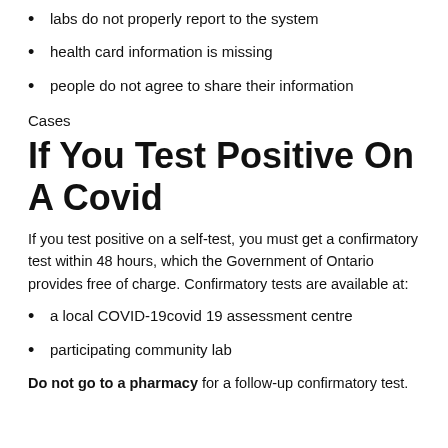labs do not properly report to the system
health card information is missing
people do not agree to share their information
Cases
If You Test Positive On A Covid
If you test positive on a self-test, you must get a confirmatory test within 48 hours, which the Government of Ontario provides free of charge. Confirmatory tests are available at:
a local COVID-19covid 19 assessment centre
participating community lab
Do not go to a pharmacy for a follow-up confirmatory test.